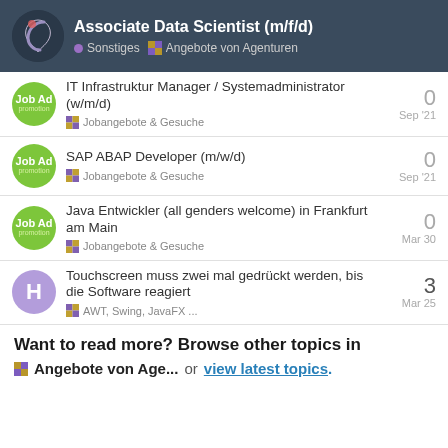Associate Data Scientist (m/f/d) — Sonstiges · Angebote von Agenturen
IT Infrastruktur Manager / Systemadministrator (w/m/d) — Jobangebote & Gesuche — Sep '21 — 0 replies
SAP ABAP Developer (m/w/d) — Jobangebote & Gesuche — Sep '21 — 0 replies
Java Entwickler (all genders welcome) in Frankfurt am Main — Jobangebote & Gesuche — Mar 30 — 0 replies
Touchscreen muss zwei mal gedrückt werden, bis die Software reagiert — AWT, Swing, JavaFX ... — Mar 25 — 3 replies
Want to read more? Browse other topics in
Angebote von Age... or view latest topics.